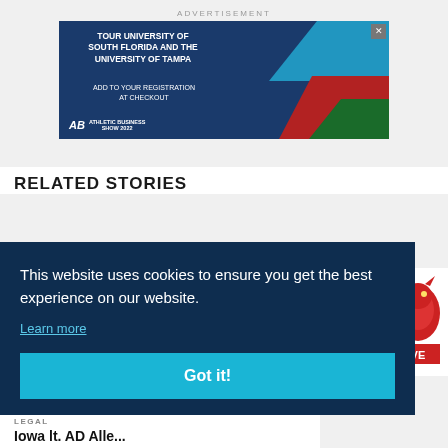ADVERTISEMENT
[Figure (illustration): Advertisement banner for Athletic Business Show 2022 promoting tours of University of South Florida and University of Tampa. Blue, red, and teal diamond geometric design with building photo on right.]
RELATED STORIES
This website uses cookies to ensure you get the best experience on our website.
Learn more
Got it!
LEGAL
Iowa lt. AD Alle...